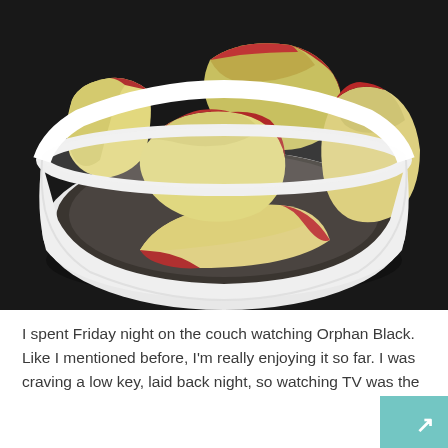[Figure (photo): A white bowl containing sliced apple pieces with red skin and pale yellow/cream flesh, photographed from above on a dark surface.]
I spent Friday night on the couch watching Orphan Black. Like I mentioned before, I'm really enjoying it so far. I was craving a low key, laid back night, so watching TV was the